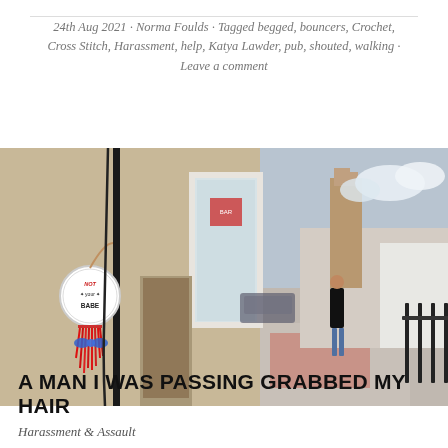24th Aug 2021 · Norma Foulds · Tagged begged, bouncers, Crochet, Cross Stitch, Harassment, help, Katya Lawder, pub, shouted, walking · Leave a comment
[Figure (photo): Street scene showing a lamppost with a circular embroidered hoop reading 'NOT your BABE' decorated with red yarn tassels and a blue ribbon, attached to a black metal pole outside a sandstone building. Background shows a town high street with a church tower visible, parked cars, shops, and a person walking away.]
A MAN I WAS PASSING GRABBED MY HAIR
Harassment & Assault